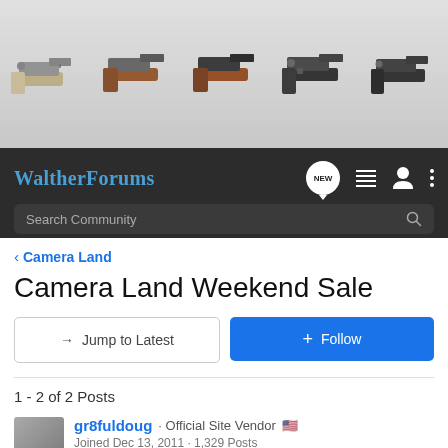[Figure (photo): Banner image showing five Walther pistols in a row on a gray background]
WaltherForums — navigation bar with logo, NEW bubble icon, menu icon, user icon, dots icon, and Search Community search bar
< Camera Land
Camera Land Weekend Sale
→ Jump to Latest
+ Follow
1 - 2 of 2 Posts
gr8fuldoug · Official Site Vendor 🇺🇸
Joined Dec 13, 2011 · 1,329 Posts